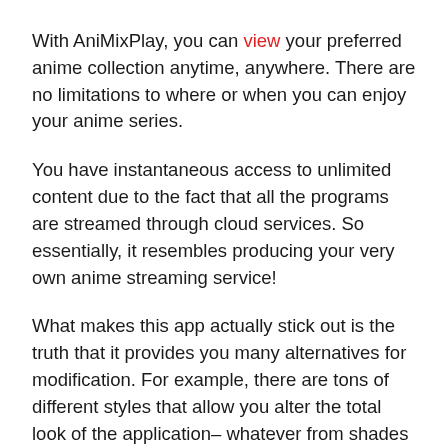With AniMixPlay, you can view your preferred anime collection anytime, anywhere. There are no limitations to where or when you can enjoy your anime series.
You have instantaneous access to unlimited content due to the fact that all the programs are streamed through cloud services. So essentially, it resembles producing your very own anime streaming service!
What makes this app actually stick out is the truth that it provides you many alternatives for modification. For example, there are tons of different styles that allow you alter the total look of the application– whatever from shades to typefaces can be altered.
And also, there's a built-in video clip gamer with sub-titles support if you need them. And also with Chromecast assistance, sharing video clips with close friends has